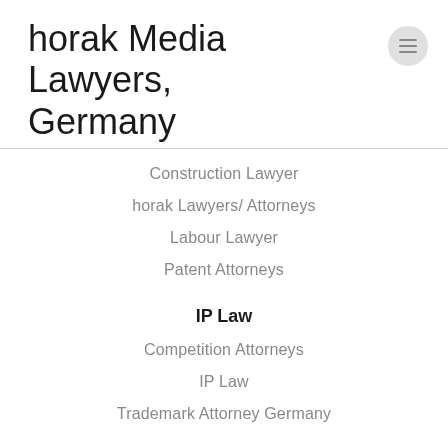horak Media Lawyers, Germany
Construction Lawyer
horak Lawyers/ Attorneys
Labour Lawyer
Patent Attorneys
IP Law
Competition Attorneys
IP Law
Trademark Attorney Germany
IT Law
IT Law